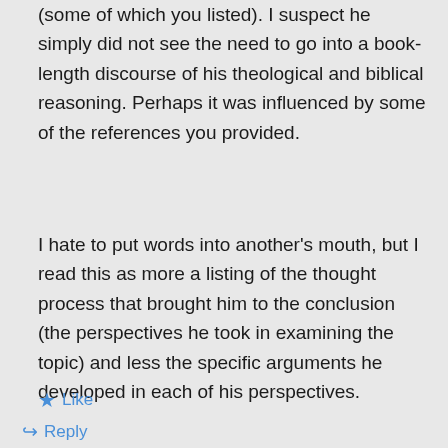(some of which you listed). I suspect he simply did not see the need to go into a book-length discourse of his theological and biblical reasoning. Perhaps it was influenced by some of the references you provided.
I hate to put words into another’s mouth, but I read this as more a listing of the thought process that brought him to the conclusion (the perspectives he took in examining the topic) and less the specific arguments he developed in each of his perspectives.
★ Like
↪ Reply